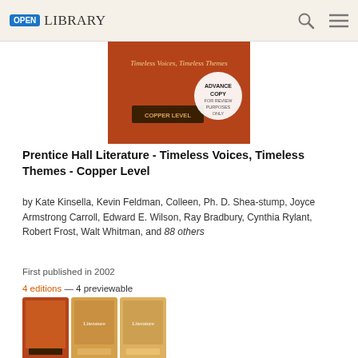OPEN LIBRARY
[Figure (photo): Book cover of Prentice Hall Literature - Timeless Voices, Timeless Themes - Copper Level, orange/brown cover with an advance copy sticker]
Prentice Hall Literature - Timeless Voices, Timeless Themes - Copper Level
by Kate Kinsella, Kevin Feldman, Colleen, Ph. D. Shea-stump, Joyce Armstrong Carroll, Edward E. Wilson, Ray Bradbury, Cynthia Rylant, Robert Frost, Walt Whitman, and 88 others
First published in 2002
4 editions — 4 previewable
[Figure (photo): Three small edition thumbnail book covers displayed in a row]
[Figure (screenshot): Borrow button in blue with headphone audio icon button]
[Figure (photo): Partially visible next book cover at bottom of page]